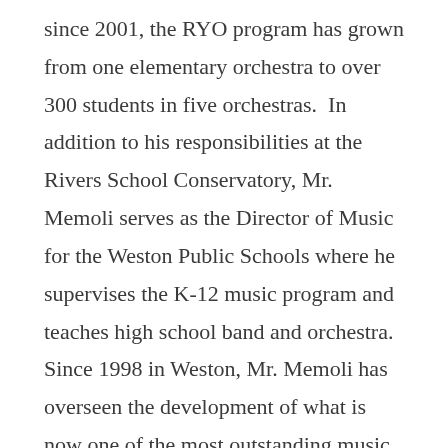since 2001, the RYO program has grown from one elementary orchestra to over 300 students in five orchestras.  In addition to his responsibilities at the Rivers School Conservatory, Mr. Memoli serves as the Director of Music for the Weston Public Schools where he supervises the K-12 music program and teaches high school band and orchestra.  Since 1998 in Weston, Mr. Memoli has overseen the development of what is now one of the most outstanding music programs in the State of Massachusetts.  He is the former Orchestra Director at John R. Lewis High School (formerly Robert E. Lee High School) in Fairfax County, VA. Do more...